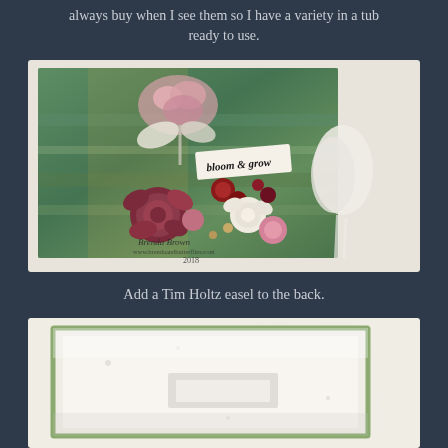always buy when I see them so I have a variety in a tub ready to use.
[Figure (photo): A decorated craft canvas/tag with green textured background, paper flowers in burgundy, red, cream and pink colors, white ribbon, and a stamped text reading 'bloom & grow'. Watermark reads 'Brenda Brown www.brendaandbutterflies.com 2018'.]
Add a Tim Holtz easel to the back.
[Figure (photo): The back of a white decorated canvas/tag showing an easel attachment, viewed at an angle on a light background.]